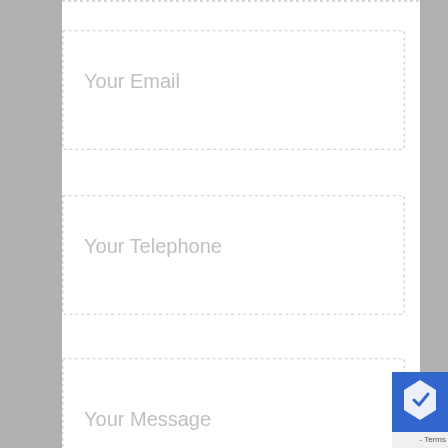[Figure (screenshot): Web contact form with three input fields (Your Email, Your Telephone, Your Message) and a Send button with magenta/pink rounded border. Grey sidebar on left and partial reCAPTCHA badge visible on right.]